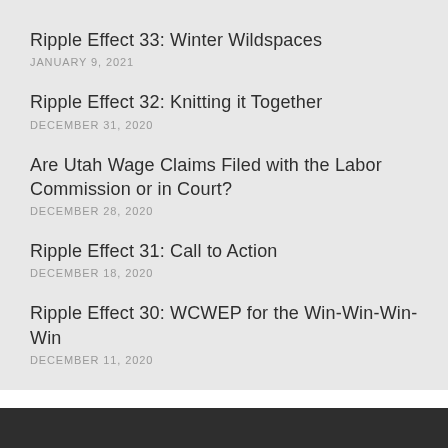Ripple Effect 33: Winter Wildspaces
JANUARY 9, 2021
Ripple Effect 32: Knitting it Together
DECEMBER 31, 2020
Are Utah Wage Claims Filed with the Labor Commission or in Court?
DECEMBER 28, 2020
Ripple Effect 31: Call to Action
DECEMBER 18, 2020
Ripple Effect 30: WCWEP for the Win-Win-Win-Win
DECEMBER 11, 2020